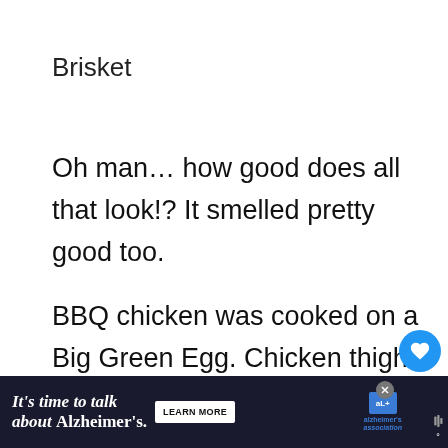Brisket
Oh man… how good does all that look!? It smelled pretty good too.
BBQ chicken was cooked on a Big Green Egg. Chicken thighs were deboned the night before and allowed to sit in a marinade. The skin removed, a bbq dry rub was applied a…
[Figure (infographic): Social interaction widget with heart/like button (blue circle, count of 1) and share button]
[Figure (infographic): What's Next card showing thumbnail of smoked BBQ meat with label 'WHAT'S NEXT → Leftover Smoked BB...']
[Figure (infographic): Advertisement banner: 'It's time to talk about Alzheimer's.' with LEARN MORE button and Alzheimer's Association logo, dark background]